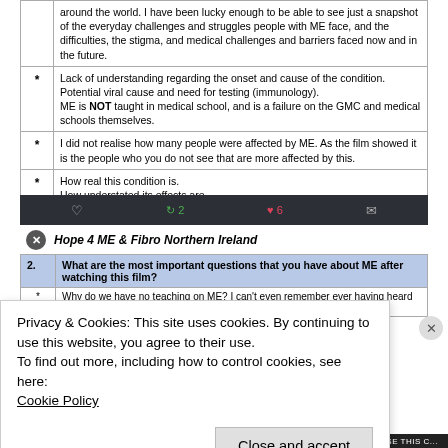|  |  |
| --- | --- |
|  | around the world. I have been lucky enough to be able to see just a snapshot of the everyday challenges and struggles people with ME face, and the difficulties, the stigma, and medical challenges and barriers faced now and in the future. |
| * | Lack of understanding regarding the onset and cause of the condition.
Potential viral cause and need for testing (immunology).
ME is NOT taught in medical school, and is a failure on the GMC and medical schools themselves. |
| * | I did not realise how many people were affected by ME. As the film showed it is the people who you do not see that are more affected by this. |
| * | How real this condition is.
How understated its effects are.
The prevalence of this condition surprised me. |
[Figure (screenshot): Twitter/social media action bar with comment, retweet (2), like (6), and message icons on dark background]
Hope 4 ME & Fibro Northern Ireland
| 2. | What are the most important questions that you have about ME after watching this film? |
| --- | --- |
| * | Why do we have no teaching on ME? I can't even remember ever having heard of it. |
Privacy & Cookies: This site uses cookies. By continuing to use this website, you agree to their use.
To find out more, including how to control cookies, see here:
Cookie Policy
Close and accept